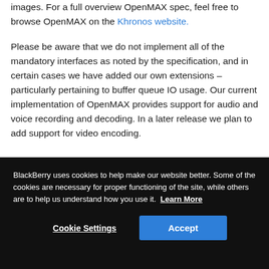images. For a full overview OpenMAX spec, feel free to browse OpenMAX on the Khronos website.
Please be aware that we do not implement all of the mandatory interfaces as noted by the specification, and in certain cases we have added our own extensions – particularly pertaining to buffer queue IO usage. Our current implementation of OpenMAX provides support for audio and voice recording and decoding. In a later release we plan to add support for video encoding.
BlackBerry uses cookies to help make our website better. Some of the cookies are necessary for proper functioning of the site, while others are to help us understand how you use it. Learn More